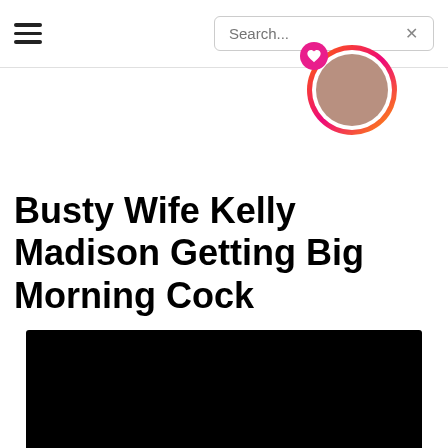≡  Search... ×
[Figure (photo): Circular avatar photo with gradient ring border and pink heart badge icon]
Busty Wife Kelly Madison Getting Big Morning Cock
[Figure (photo): Black rectangular image area at bottom of page]